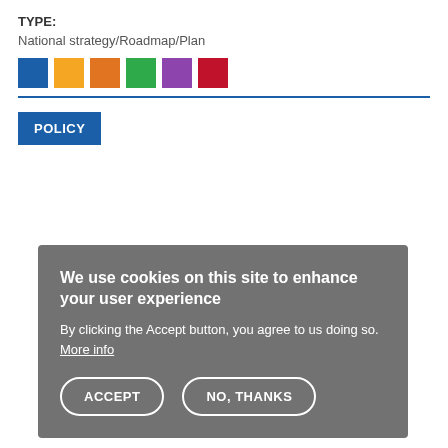TYPE:
National strategy/Roadmap/Plan
[Figure (other): Six colored square swatches in a row: blue, yellow, orange, green, purple, red]
POLICY
We use cookies on this site to enhance your user experience
By clicking the Accept button, you agree to us doing so. More info
ACCEPT   NO, THANKS